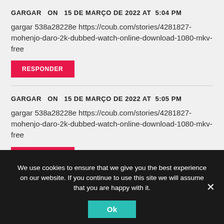GARGAR   ON   15 DE MARÇO DE 2022 AT  5:04 PM
gargar 538a28228e https://coub.com/stories/4281827-mohenjo-daro-2k-dubbed-watch-online-download-1080-mkv-free
RESPONDER
GARGAR   ON   15 DE MARÇO DE 2022 AT  5:05 PM
gargar 538a28228e https://coub.com/stories/4281827-mohenjo-daro-2k-dubbed-watch-online-download-1080-mkv-free
RESPONDER
GARGAR   ON   15 DE MARÇO DE 2022 AT  5:05 PM
We use cookies to ensure that we give you the best experience on our website. If you continue to use this site we will assume that you are happy with it.
Ok